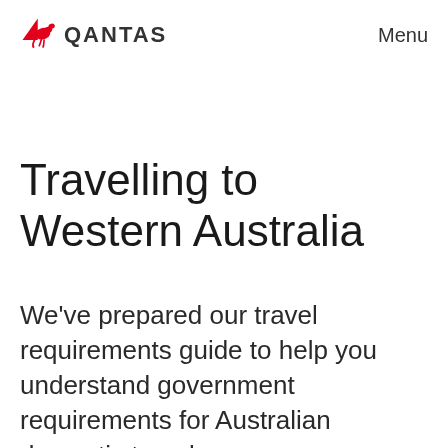QANTAS   Menu
Travelling to Western Australia
We've prepared our travel requirements guide to help you understand government requirements for Australian domestic travel.